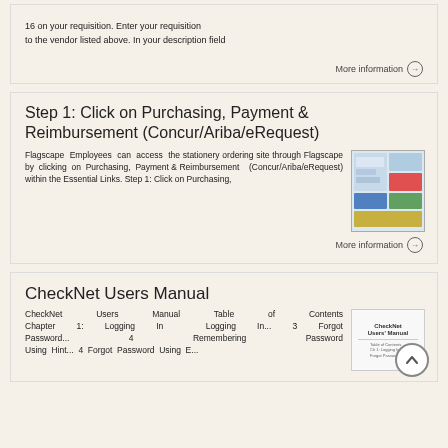16 on your requisition. Enter your requisition to the vendor listed above. In your description field
More information →
Step 1: Click on Purchasing, Payment & Reimbursement (Concur/Ariba/eRequest)
Flagscape Employees can access the stationery ordering site through Flagscape by clicking on Purchasing, Payment & Reimbursement (Concur/Ariba/eRequest) within the Essential Links. Step 1: Click on Purchasing,
[Figure (screenshot): Screenshot thumbnail of Flagscape purchasing portal interface showing colored tiles/categories.]
More information →
CheckNet Users Manual
CheckNet Users Manual Table of Contents Chapter 1: Logging In Logging In... 3 Forgot Password... 4 Remembering Password Using Hint... 4 Forgot Password Using E...
[Figure (screenshot): Thumbnail image of CheckNet Users Manual document cover.]